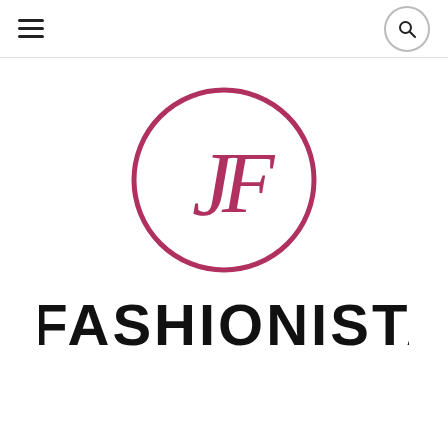[Figure (logo): JFashionista logo: a circle with JF monogram in mauve/dark pink, and 'JFASHIONISTA' text in black below]